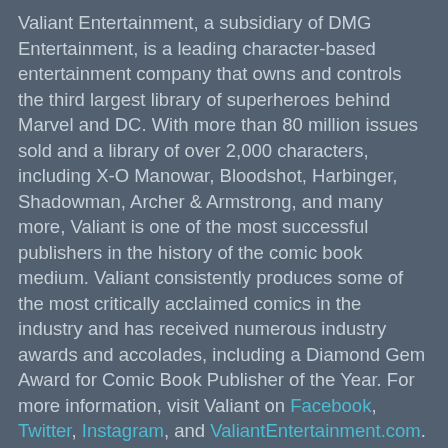Valiant Entertainment, a subsidiary of DMG Entertainment, is a leading character-based entertainment company that owns and controls the third largest library of superheroes behind Marvel and DC. With more than 80 million issues sold and a library of over 2,000 characters, including X-O Manowar, Bloodshot, Harbinger, Shadowman, Archer & Armstrong, and many more, Valiant is one of the most successful publishers in the history of the comic book medium. Valiant consistently produces some of the most critically acclaimed comics in the industry and has received numerous industry awards and accolades, including a Diamond Gem Award for Comic Book Publisher of the Year. For more information, visit Valiant on Facebook, Twitter, Instagram, and ValiantEntertainment.com. For Valiant merchandise and more, visit ValiantStore.com.